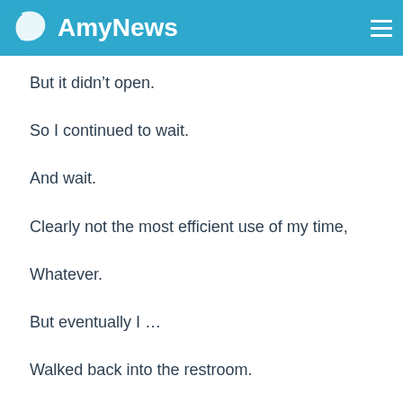AmyNews
But it didn’t open.
So I continued to wait.
And wait.
Clearly not the most efficient use of my time,
Whatever.
But eventually I …
Walked back into the restroom.